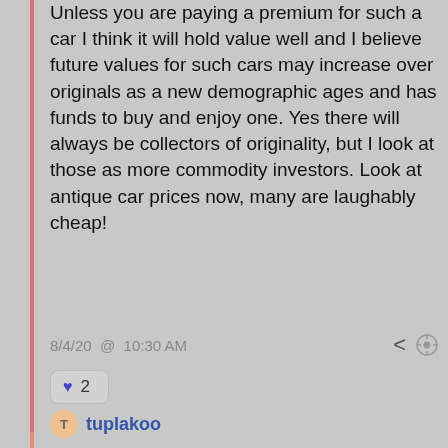Unless you are paying a premium for such a car I think it will hold value well and I believe future values for such cars may increase over originals as a new demographic ages and has funds to buy and enjoy one. Yes there will always be collectors of originality, but I look at those as more commodity investors. Look at antique car prices now, many are laughably cheap!
8/4/20 @ 10:30 AM
♥ 2
tuplakoo
WOW, Thanks for so many replies !!!
Wise words and thoughts, I will go and check that